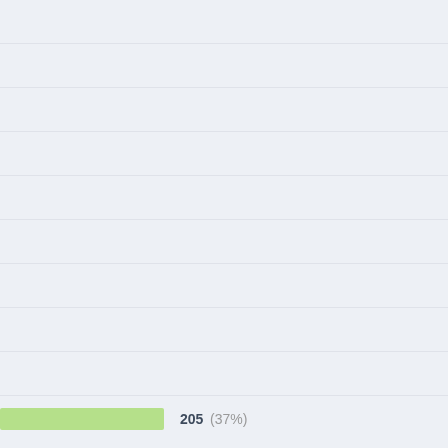[Figure (bar-chart): Horizontal bar chart row showing a green progress bar with value 205 (37%), against a striped light-blue background of empty rows.]